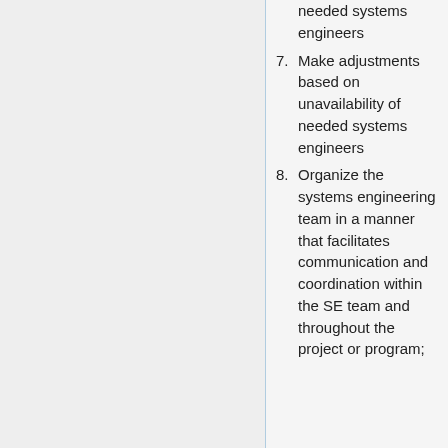needed systems engineers
7. Make adjustments based on unavailability of needed systems engineers
8. Organize the systems engineering team in a manner that facilitates communication and coordination within the SE team and throughout the project or program;